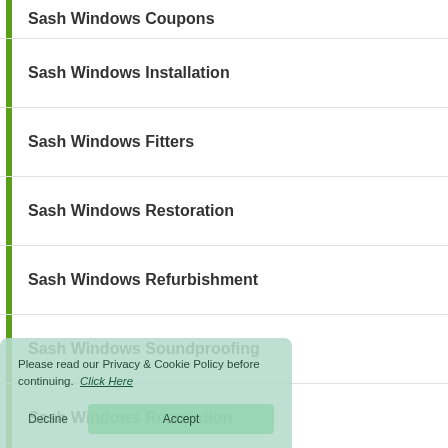Sash Windows Coupons
Sash Windows Installation
Sash Windows Fitters
Sash Windows Restoration
Sash Windows Refurbishment
Sash Windows Soundproofing
Sash Windows Renovation
Please read our Privacy & Cookie Policy before continuing. Click Here
Decline | Accept